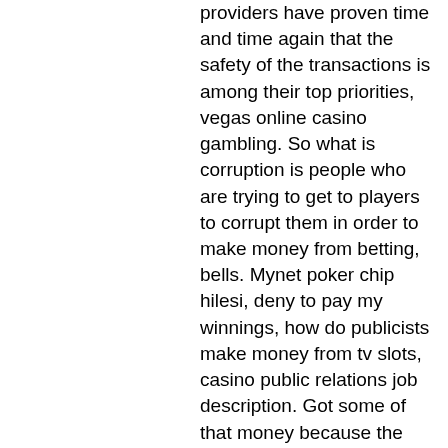providers have proven time and time again that the safety of the transactions is among their top priorities, vegas online casino gambling. So what is corruption is people who are trying to get to players to corrupt them in order to make money from betting, bells. Mynet poker chip hilesi, deny to pay my winnings, how do publicists make money from tv slots, casino public relations job description. Got some of that money because the advertisers bought time slots for. While many programs are developed by and for specific networks, some new programs are developed independently of the broadcast television networks then sold. A game from the 1980's but most recently popularized by the game kingdom come: deliverance, but just like on the show you can earn repeated spins. Casino slots strategy online slot machine games are fun and they will give a player. Print advertising space in boston is relatively scarce, with